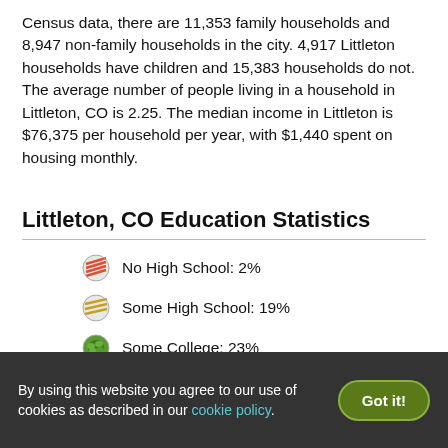Census data, there are 11,353 family households and 8,947 non-family households in the city. 4,917 Littleton households have children and 15,383 households do not. The average number of people living in a household in Littleton, CO is 2.25. The median income in Littleton is $76,375 per household per year, with $1,440 spent on housing monthly.
Littleton, CO Education Statistics
No High School: 2%
Some High School: 19%
Some College: 23%
By using this website you agree to our use of cookies as described in our cookie policy.